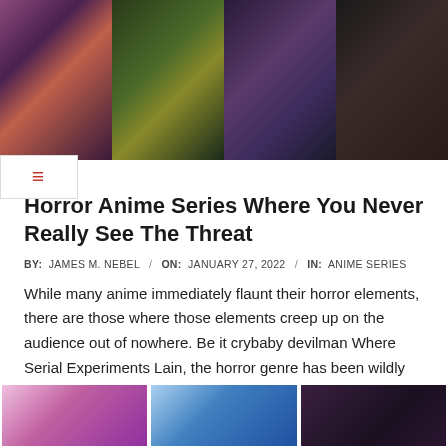[Figure (photo): Collage of anime characters from horror anime series, featuring colorful illustrated characters in dark dramatic scenes]
Horror Anime Series Where You Never Really See The Threat
BY: JAMES M. NEBEL / ON: JANUARY 27, 2022 / IN: ANIME SERIES
While many anime immediately flaunt their horror elements, there are those where those elements creep up on the audience out of nowhere. Be it crybaby devilman Where Serial Experiments Lain, the horror genre has been wildly explored in anime. It has grown enormously, sending a shiver down the spine of
READ MORE →
[Figure (photo): Second collage of anime characters at the bottom of the page, featuring colorful illustrated scenes]